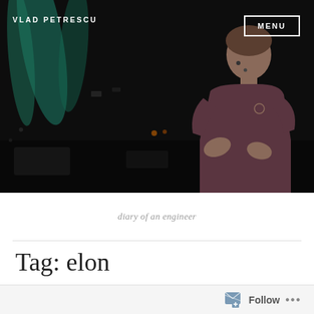[Figure (photo): A man speaking on stage with a microphone headset, wearing a dark shirt, gesturing with hands. Dark background with teal/green lighting effects on the left side.]
VLAD PETRESCU
MENU
diary of an engineer
Tag: elon
Follow ...